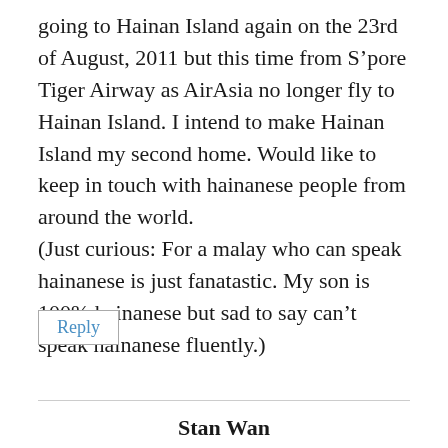going to Hainan Island again on the 23rd of August, 2011 but this time from S’pore Tiger Airway as AirAsia no longer fly to Hainan Island. I intend to make Hainan Island my second home. Would like to keep in touch with hainanese people from around the world.
(Just curious: For a malay who can speak hainanese is just fanatastic. My son is 100% hainanese but sad to say can’t speak hainanese fluently.)
Reply
Stan Wan